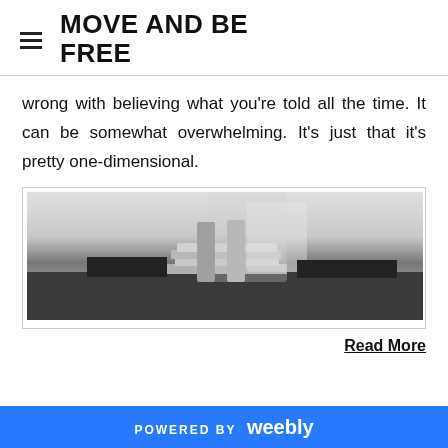MOVE AND BE FREE
wrong with believing what you’re told all the time. It can be somewhat overwhelming. It’s just that it’s pretty one-dimensional.
[Figure (photo): Black and white photo of a dancer or person on pointe shoes standing on a stack of books]
Read More
POWERED BY weebly